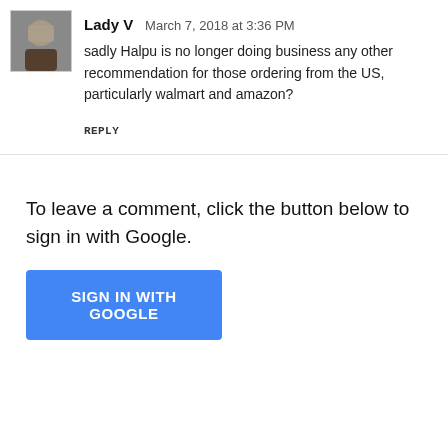[Figure (photo): Avatar photo of Lady V — a small square thumbnail showing a person holding something in front of their face]
Lady V   March 7, 2018 at 3:36 PM
sadly Halpu is no longer doing business any other recommendation for those ordering from the US, particularly walmart and amazon?
REPLY
To leave a comment, click the button below to sign in with Google.
SIGN IN WITH GOOGLE